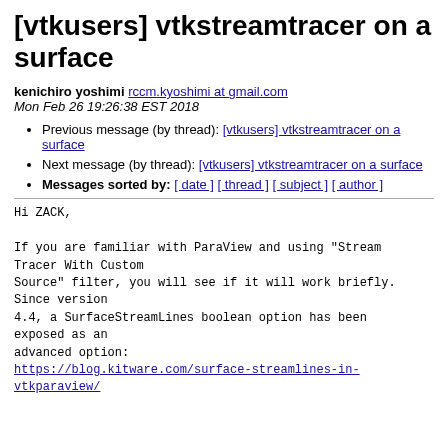[vtkusers] vtkstreamtracer on a surface
kenichiro yoshimi rccm.kyoshimi at gmail.com
Mon Feb 26 19:26:38 EST 2018
Previous message (by thread): [vtkusers] vtkstreamtracer on a surface
Next message (by thread): [vtkusers] vtkstreamtracer on a surface
Messages sorted by: [ date ] [ thread ] [ subject ] [ author ]
Hi ZACK,

If you are familiar with ParaView and using "Stream Tracer With Custom
Source" filter, you will see if it will work briefly. Since version
4.4, a SurfaceStreamLines boolean option has been exposed as an
advanced option:
https://blog.kitware.com/surface-streamlines-in-vtkparaview/